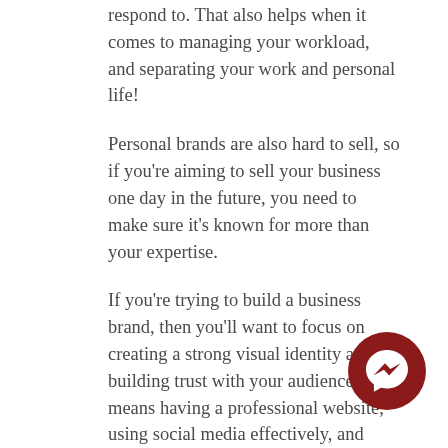respond to. That also helps when it comes to managing your workload, and separating your work and personal life!
Personal brands are also hard to sell, so if you're aiming to sell your business one day in the future, you need to make sure it's known for more than your expertise.
If you're trying to build a business brand, then you'll want to focus on creating a strong visual identity and building trust with your audience. This means having a professional website, using social media effectively, and creating helpful content that solves your customer's problems. No matter which route you choose, remember that consistency
Want to find out more, or get some expert help with your branding, social media, or
[Figure (illustration): Dark red circular Facebook Messenger chat button icon]